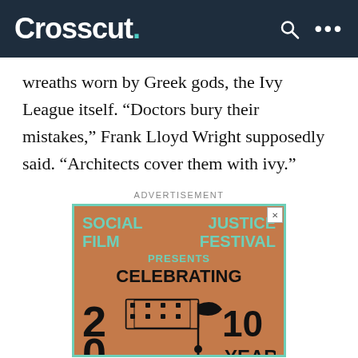Crosscut.
wreaths worn by Greek gods, the Ivy League itself. “Doctors bury their mistakes,” Frank Lloyd Wright supposedly said. “Architects cover them with ivy.”
ADVERTISEMENT
[Figure (other): Advertisement for Social Justice Film Festival 2022 Celebrating 10 Years]